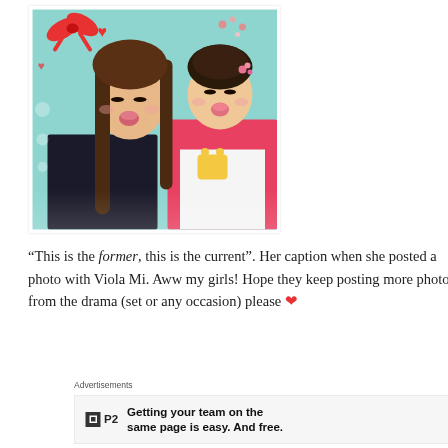[Figure (photo): Two young Asian women making kissy faces/duck faces together. The one on the left has long brown hair and dark clothing. The one on the right wears a pink top and has a flower hairpin. Colorful background with hearts and floral decorations.]
“This is the former, this is the current”. Her caption when she posted a photo with Viola Mi. Aww my girls! Hope they keep posting more photos from the drama (set or any occasion) please ❤
Advertisements
[Figure (screenshot): Advertisement banner for P2 (Planio): black square logo with white inner square, P2 label, text reading 'Getting your team on the same page is easy. And free.']
REPORT THIS AD
[Figure (photo): Bottom portion of another photo, partially visible at bottom of page.]